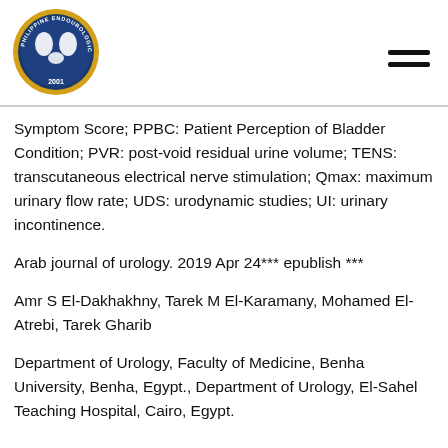[Figure (logo): Philippine Endourology Society circular logo with gold/orange border, year 2001, blue background with kidney/urological imagery]
Symptom Score; PPBC: Patient Perception of Bladder Condition; PVR: post-void residual urine volume; TENS: transcutaneous electrical nerve stimulation; Qmax: maximum urinary flow rate; UDS: urodynamic studies; UI: urinary incontinence.
Arab journal of urology. 2019 Apr 24*** epublish ***
Amr S El-Dakhakhny, Tarek M El-Karamany, Mohamed El-Atrebi, Tarek Gharib
Department of Urology, Faculty of Medicine, Benha University, Benha, Egypt., Department of Urology, El-Sahel Teaching Hospital, Cairo, Egypt.